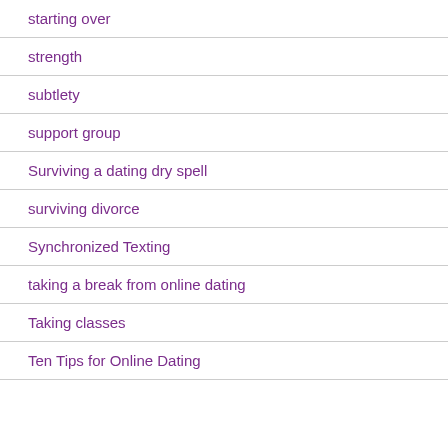starting over
strength
subtlety
support group
Surviving a dating dry spell
surviving divorce
Synchronized Texting
taking a break from online dating
Taking classes
Ten Tips for Online Dating